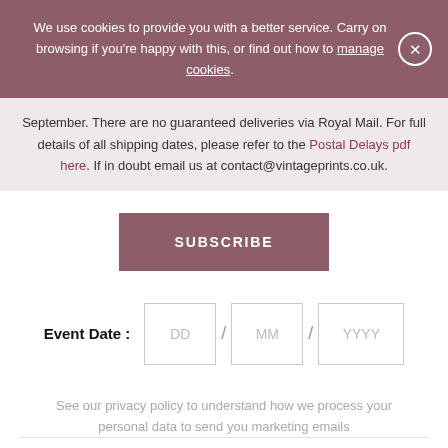We use cookies to provide you with a better service. Carry on browsing if you're happy with this, or find out how to manage cookies.
September. There are no guaranteed deliveries via Royal Mail. For full details of all shipping dates, please refer to the Postal Delays pdf here. If in doubt email us at contact@vintageprints.co.uk.
SUBSCRIBE
Event Date : DD / MM / YYYY
See our privacy policy to understand how we process your personal data to send you marketing emails